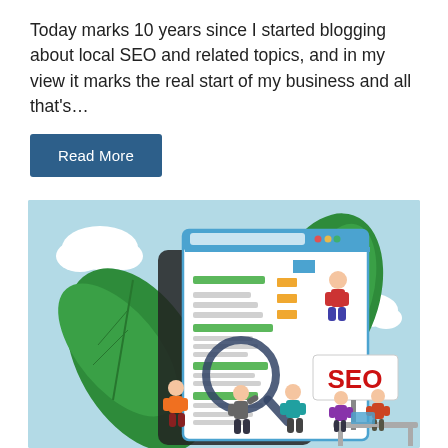Today marks 10 years since I started blogging about local SEO and related topics, and in my view it marks the real start of my business and all that's...
Read More
[Figure (illustration): SEO themed illustration showing a large browser/document window with green content bars and orange rectangles, a magnifying glass, tropical leaves, clouds on a light blue background, and several cartoon people including people sitting on a tablet device, standing pointing at a screen, and a group working at a table near an SEO sign]